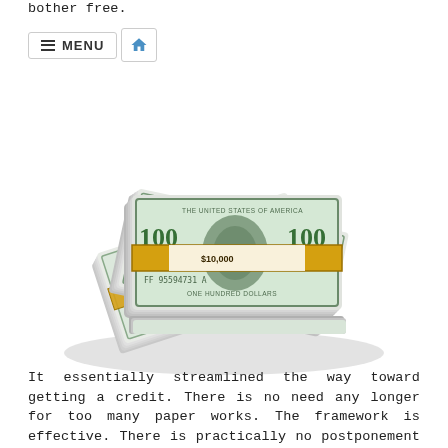bother free.
[Figure (photo): Stack of bundled US $100 dollar bills arranged in a pile, with yellow currency bands around them]
It essentially streamlined the way toward getting a credit. There is no need any longer for too many paper works. The framework is effective. There is practically no postponement in dispensing cash.